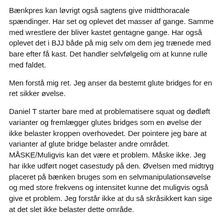Bænkpres kan løvrigt også sagtens give midtthoracale spændinger. Har set og oplevet det masser af gange. Samme med wrestlere der bliver kastet gentagne gange. Har også oplevet det i BJJ både på mig selv om dem jeg trænede med bare efter få kast. Det handler selvfølgelig om at kunne rulle med faldet.
Men forstå mig ret. Jeg anser da bestemt glute bridges for en ret sikker øvelse.
Daniel T starter bare med at problematisere squat og dødløft varianter og fremlægger glutes bridges som en øvelse der ikke belaster kroppen overhovedet. Der pointere jeg bare at varianter af glute bridge belaster andre området. MÅSKE/Muligvis kan det være et problem. Måske ikke. Jeg har ikke udført noget casestudy på den. Øvelsen med midtryg placeret på bænken bruges som en selvmanipulationsøvelse og med store frekvens og intensitet kunne det muligvis også give et problem. Jeg forstår ikke at du så skråsikkert kan sige at det slet ikke belaster dette område.
Ps. Min kone vejer kun 44 kg så min gamle ryg klarer det lige ;-)